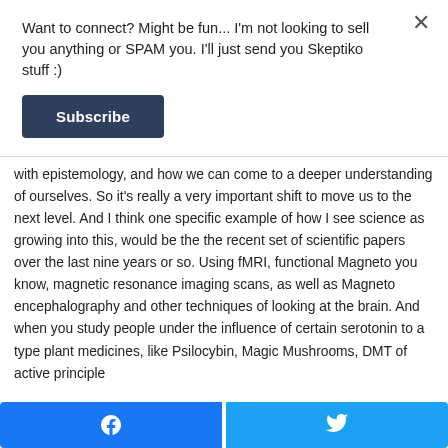Want to connect? Might be fun... I'm not looking to sell you anything or SPAM you. I'll just send you Skeptiko stuff :)
Subscribe
with epistemology, and how we can come to a deeper understanding of ourselves. So it's really a very important shift to move us to the next level. And I think one specific example of how I see science as growing into this, would be the the recent set of scientific papers over the last nine years or so. Using fMRI, functional Magneto you know, magnetic resonance imaging scans, as well as Magneto encephalography and other techniques of looking at the brain. And when you study people under the influence of certain serotonin to a type plant medicines, like Psilocybin, Magic Mushrooms, DMT of active principle
[Figure (other): Facebook share button (blue) and Twitter share button (light blue) at the bottom of the page]